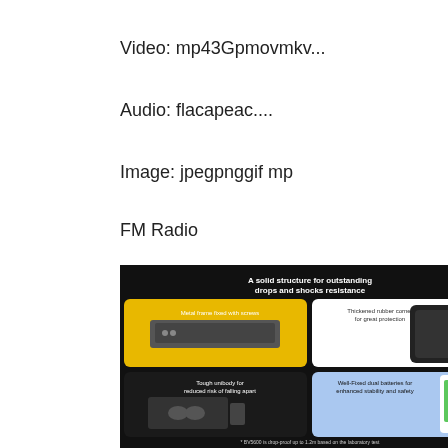Video: mp43Gpmovmkv...
Audio: flacapeac....
Image: jpegpnggif mp
FM Radio
[Figure (photo): Product feature infographic on black background titled 'A solid structure for outstanding drops and shocks resistance'. Four panels showing: Metal frame fixed with screws (yellow background, device side view), Thickened rubber corner for great protection (white background, phone back corner), Tough unibody for reduced risk of falling apart (black background, device open view), Well-Fixed dual batteries for enhanced stability and safety (blue background, phone with battery). Footer text: * BV5600 is drop-proof up to 1.2m based on the laboratory test]